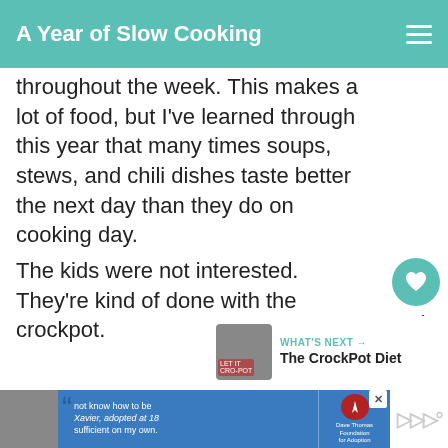A Year of Slow Cooking
throughout the week. This makes a lot of food, but I've learned through this year that many times soups, stews, and chili dishes taste better the next day than they do on cooking day.
The kids were not interested. They're kind of done with the crockpot.
[Figure (screenshot): Like button (heart icon, teal circle), share button, count of 1]
[Figure (screenshot): What's Next card with thumbnail and title 'The CrockPot Diet']
[Figure (screenshot): Advertisement banner for Dave Thomas Foundation for Adoption with quote text]